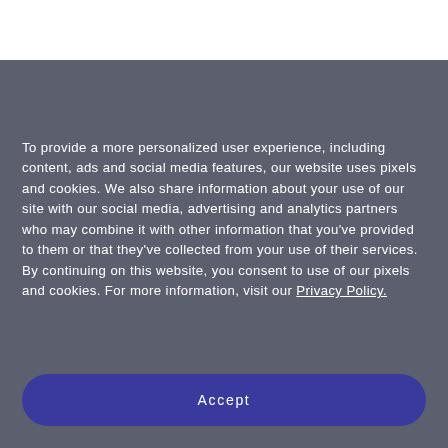To provide a more personalized user experience, including content, ads and social media features, our website uses pixels and cookies. We also share information about your use of our site with our social media, advertising and analytics partners who may combine it with other information that you've provided to them or that they've collected from your use of their services. By continuing on this website, you consent to use of our pixels and cookies. For more information, visit our Privacy Policy.
Accept